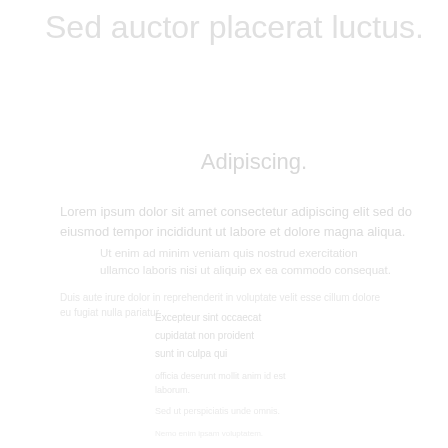Sed auctor placerat luctus.
Adipiscing.
Lorem ipsum dolor sit amet consectetur adipiscing elit sed do eiusmod tempor incididunt ut labore et dolore magna aliqua.
Ut enim ad minim veniam quis nostrud exercitation ullamco laboris nisi ut aliquip ex ea commodo consequat.
Duis aute irure dolor in reprehenderit in voluptate velit esse cillum dolore eu fugiat nulla pariatur.
Excepteur sint occaecat
cupidatat non proident
sunt in culpa qui
officia deserunt mollit anim id est laborum.
Sed ut perspiciatis unde omnis.
Nemo enim ipsam voluptatem.